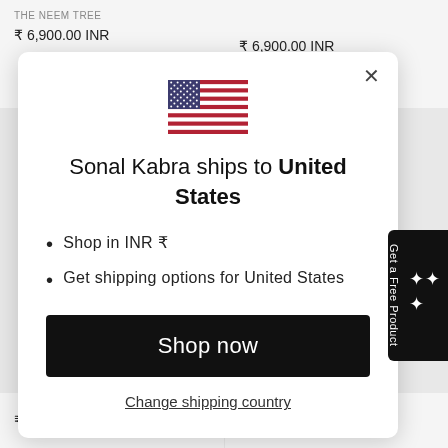THE NEEM TREE
₹ 6,900.00 INR
₹ 6,900.00 INR
[Figure (illustration): US flag emoji/icon centered in modal dialog]
Sonal Kabra ships to United States
Shop in INR ₹
Get shipping options for United States
Shop now
Change shipping country
₹ 6,900.00 INR
₹ 4,900.00 INR